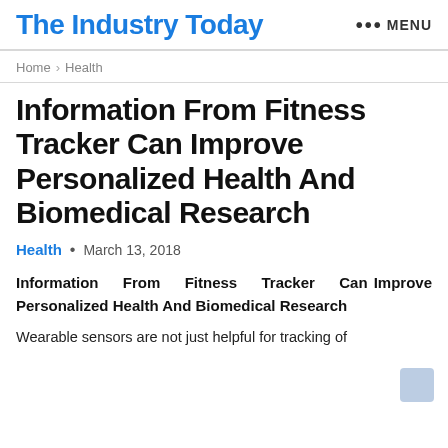The Industry Today   ••• MENU
Home > Health
Information From Fitness Tracker Can Improve Personalized Health And Biomedical Research
Health • March 13, 2018
Information From Fitness Tracker Can Improve Personalized Health And Biomedical Research
Wearable sensors are not just helpful for tracking of